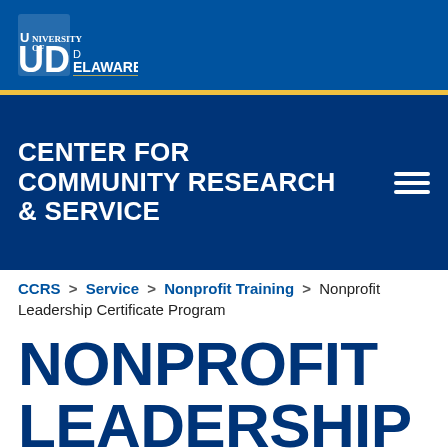[Figure (logo): University of Delaware logo in white on blue background]
CENTER FOR COMMUNITY RESEARCH & SERVICE
CCRS > Service > Nonprofit Training > Nonprofit Leadership Certificate Program
NONPROFIT LEADERSHIP CERTIFICATE PROGRAM